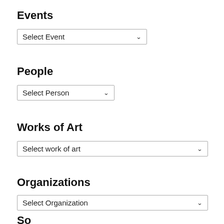Events
[Figure (screenshot): Dropdown selector showing 'Select Event']
People
[Figure (screenshot): Dropdown selector showing 'Select Person']
Works of Art
[Figure (screenshot): Dropdown selector showing 'Select work of art']
Organizations
[Figure (screenshot): Dropdown selector showing 'Select Organization']
Sources